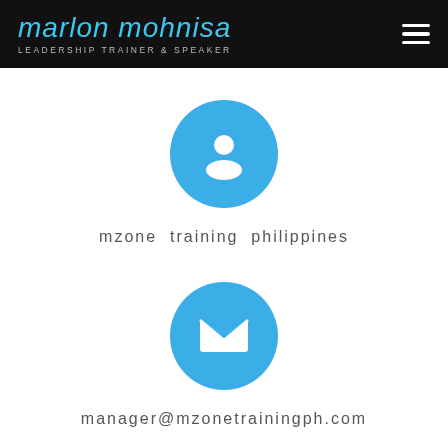marlon mohnisa LEADERSHIP TRAINER & SPEAKER
[Figure (illustration): Blue circle with white person/user silhouette icon]
mzone training philippines
[Figure (illustration): Blue circle with white envelope/mail icon]
manager@mzonetrainingph.com